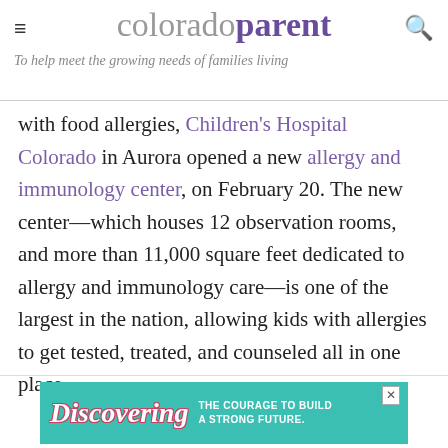colorado parent
To help meet the growing needs of families living with food allergies, Children's Hospital Colorado in Aurora opened a new allergy and immunology center, on February 20. The new center—which houses 12 observation rooms, and more than 11,000 square feet dedicated to allergy and immunology care—is one of the largest in the nation, allowing kids with allergies to get tested, treated, and counseled all in one place.
[Figure (photo): Advertisement for Discovering: The Courage to Build a Strong Future. Teal background with stylized script text and a child's face.]